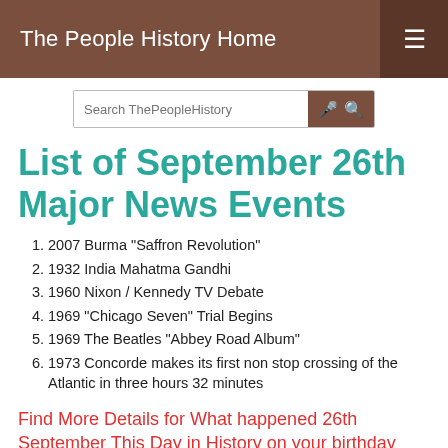The People History Home
List of September 26th Major News Events
2007 Burma "Saffron Revolution"
1932 India Mahatma Gandhi
1960 Nixon / Kennedy TV Debate
1969 "Chicago Seven" Trial Begins
1969 The Beatles "Abbey Road Album"
1973 Concorde makes its first non stop crossing of the Atlantic in three hours 32 minutes
Find More Details for What happened 26th September This Day in History on your birthday